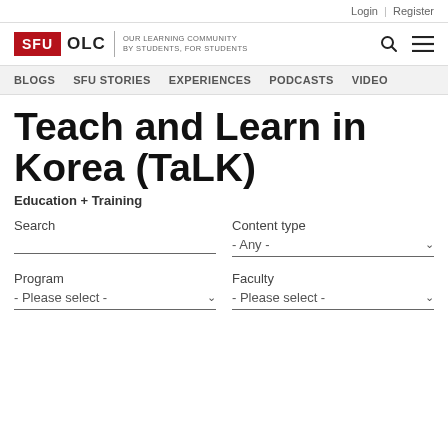Login | Register
[Figure (logo): SFU OLC Our Learning Community by Students, For Students logo with search and menu icons]
BLOGS  SFU STORIES  EXPERIENCES  PODCASTS  VIDEO
Teach and Learn in Korea (TaLK)
Education + Training
Search
Content type
- Any -
Program
Faculty
- Please select -
- Please select -